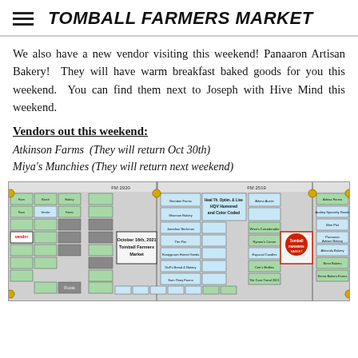TOMBALL FARMERS MARKET
We also have a new vendor visiting this weekend! Panaaron Artisan Bakery!  They will have warm breakfast baked goods for you this weekend.  You can find them next to Joseph with Hive Mind this weekend.
Vendors out this weekend:
Atkinson Farms  (They will return Oct 30th)
Miya's Munchies (They will return next weekend)
[Figure (map): October 16th, 2021 Tomball Farmers Market vendor layout map showing booth positions along FM 2920 and FM 2519, with various colored vendor squares labeled with vendor names, and a Tomball Farmers Market logo in the center-right area.]